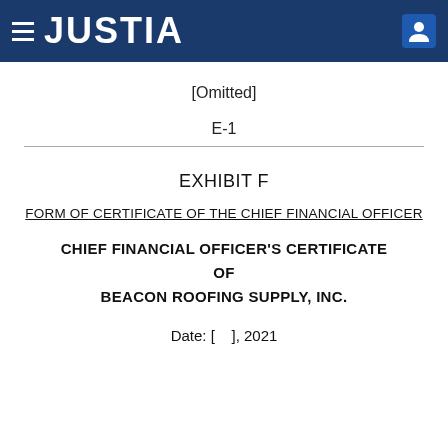JUSTIA
[Omitted]
E-1
EXHIBIT F
FORM OF CERTIFICATE OF THE CHIEF FINANCIAL OFFICER
CHIEF FINANCIAL OFFICER'S CERTIFICATE OF BEACON ROOFING SUPPLY, INC.
Date: [    ], 2021